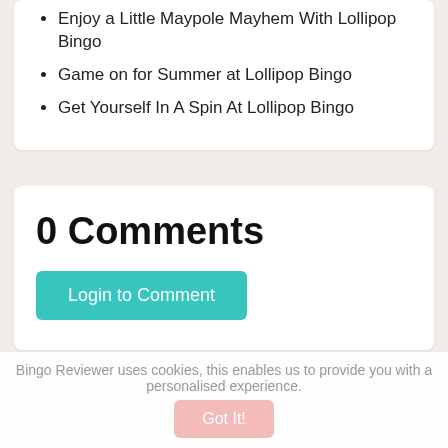Enjoy a Little Maypole Mayhem With Lollipop Bingo
Game on for Summer at Lollipop Bingo
Get Yourself In A Spin At Lollipop Bingo
0 Comments
Login to Comment
Bingo Reviewer uses cookies, this enables us to provide you with a personalised experience.